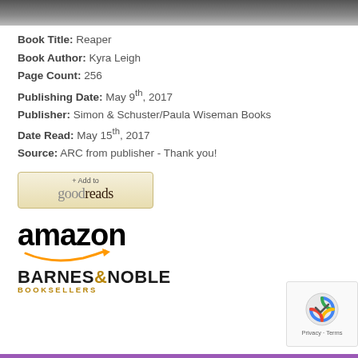[Figure (photo): Top portion of book cover image, dark tones]
Book Title: Reaper
Book Author: Kyra Leigh
Page Count: 256
Publishing Date: May 9th, 2017
Publisher: Simon & Schuster/Paula Wiseman Books
Date Read: May 15th, 2017
Source: ARC from publisher - Thank you!
[Figure (logo): Goodreads + Add to goodreads button]
[Figure (logo): Amazon logo with orange arrow]
[Figure (logo): Barnes & Noble Booksellers logo]
[Figure (other): reCAPTCHA privacy box with Privacy - Terms text]